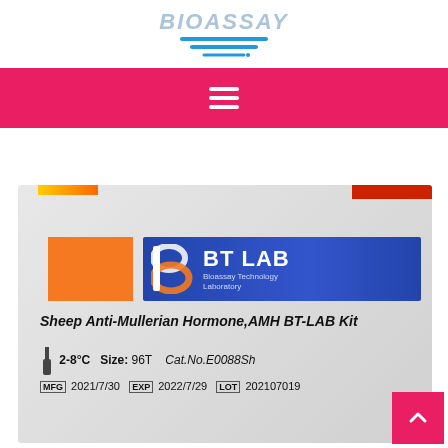[Figure (logo): BIOASSAY or similar brand logo with blue horizontal lines below stylized text]
[Figure (photo): Product box photo: BT LAB Sheep Anti-Mullerian Hormone AMH BT-LAB Kit, showing BT LAB logo banner (blue background, orange B logo), orange square, product name in italic bold, size 96T, Cat.No. E0088Sh, MFG 2021/7/30, EXP 2022/7/29, LOT 202107019]
Sheep Anti-Mullerian Hormone,AMH BT-LAB Kit
2-8°C   Size: 96T   Cat.No.E0088Sh
MFG 2021/7/30  EXP 2022/7/29  LOT 202107019